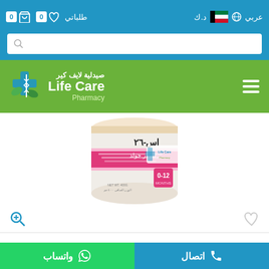عربي | د.ك | طلباتي | 0 (cart) | 0 (wishlist)
[Figure (screenshot): Search bar with magnifying glass icon on blue background]
[Figure (logo): Life Care Pharmacy logo with Arabic text صيدلية لايف كير and green cross with leaves icon on green navigation bar]
[Figure (photo): Product image: S-26 AR Gold infant formula tin (0-12 months) with Life Care Pharmacy watermark, Arabic text اس-٢٦ ايه ار جولد]
3.15 د.ك.
نفذت الكمية.
واتساب | اتصال